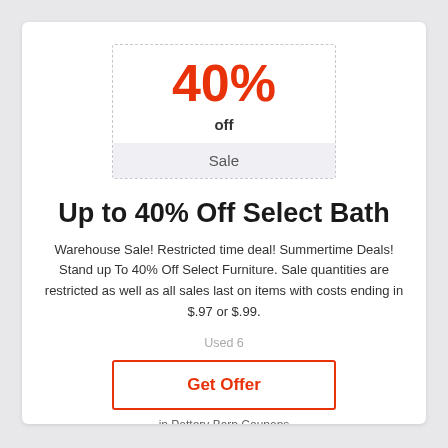[Figure (infographic): Coupon badge showing 40% in large red text, 'off' in bold below, and 'Sale' in a grey band at the bottom, all within a dashed border box.]
Up to 40% Off Select Bath
Warehouse Sale! Restricted time deal! Summertime Deals! Stand up To 40% Off Select Furniture. Sale quantities are restricted as well as all sales last on items with costs ending in $.97 or $.99.
Used 6
Get Offer
in Pottery Barn Coupons